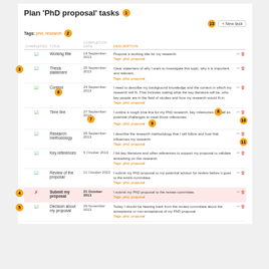Plan 'PhD proposal' tasks 1
13  + New task
Tags: phd, research  2
| COMPLETED | TITLE | COMPLETION DATE | DESCRIPTION |  |
| --- | --- | --- | --- | --- |
| ☑ | Working title | 14 September 2013 | Propose a working title for my research.
Tags: phd, proposal | ✏ 🗑 |
| ☑ | Thesis statement | 25 September 2013 | Clear statement of why I want to investigate this topic; why it is important and relevant.
Tags: phd, proposal | ✏ 🗑 |
| ☑ | Context | 24 September 2013 | I need to describe my background knowledge and the context in which my research will fit. That Includes stating what the key literature will be, who key people are in the field of studies and how my research would fit in.
Tags: phd, proposal | ✏ 🗑 |
| ☑ | Time line | 27 September 2013 | I outline a rough time line for my PhD research, key milestones as well as potential challenges to meet those milestones.
Tags: phd, proposal | ✏ 🗑 |
| ☑ | Research methodology | 29 September 2013 | I describe the research methodology that I will follow and how that influences my research.
Tags: phd, proposal | ✏ 🗑 |
| ☑ | Key references | 5 October 2013 | I list key literature and other references to support my proposal to validate embarking on this research.
Tags: phd, proposal | ✏ 🗑 |
| ☑ | Review of the proposal | 11 October 2013 | I submit my PhD proposal to my potential advisor for review before it goes to the entire committee.
Tags: phd, proposal | ✏ 🗑 |
| ✗ | Submit my proposal | 21 October 2013 | I submit my PhD proposal to the review committee.
Tags: phd, proposal | ✏ 🗑 |
| ☑ | Decision about my proposal | 29 November 2013 | Today I should be hearing back from the review committee about the acceptance or non-acceptance of my PhD proposal.
Tags: phd, proposal | ✏ 🗑 |